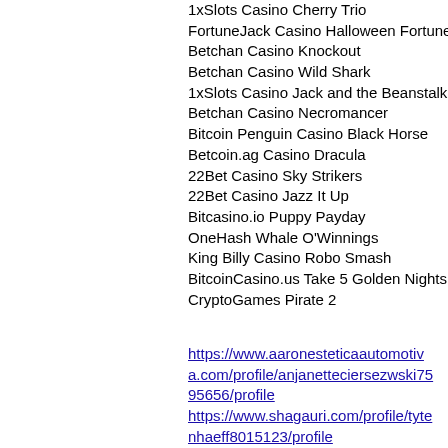1xSlots Casino Cherry Trio
FortuneJack Casino Halloween Fortune
Betchan Casino Knockout
Betchan Casino Wild Shark
1xSlots Casino Jack and the Beanstalk
Betchan Casino Necromancer
Bitcoin Penguin Casino Black Horse
Betcoin.ag Casino Dracula
22Bet Casino Sky Strikers
22Bet Casino Jazz It Up
Bitcasino.io Puppy Payday
OneHash Whale O'Winnings
King Billy Casino Robo Smash
BitcoinCasino.us Take 5 Golden Nights
CryptoGames Pirate 2
https://www.aaronesteticaautomotiva.com/profile/anjanetteciersezwski7595656/profile https://www.shagauri.com/profile/tytenhaeff8015123/profile https://www.robynsboudoirphotography.com/profile/jeffereythate13894507/profile